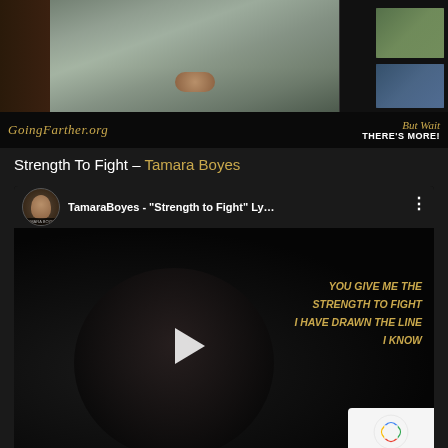[Figure (screenshot): GoingFarther.org website screenshot showing a banner with a woman in a grey sweater and dark background, with a black bar containing the site logo and tagline 'But Wait THERE'S MORE!']
Strength To Fight – Tamara Boyes
[Figure (screenshot): Embedded YouTube video player showing TamaraBoyes - 'Strength to Fight' Ly... with a dark video frame, play button, and lyric overlay reading 'YOU GIVE ME THE STRENGTH TO FIGHT / I HAVE DRAWN THE LINE / I KNOW'. A reCAPTCHA badge is visible in the bottom right corner.]